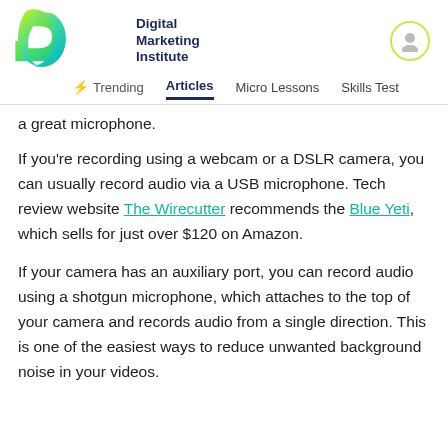Digital Marketing Institute — header with navigation: Trending, Articles, Micro Lessons, Skills Test
a great microphone.
If you're recording using a webcam or a DSLR camera, you can usually record audio via a USB microphone. Tech review website The Wirecutter recommends the Blue Yeti, which sells for just over $120 on Amazon.
If your camera has an auxiliary port, you can record audio using a shotgun microphone, which attaches to the top of your camera and records audio from a single direction. This is one of the easiest ways to reduce unwanted background noise in your videos.